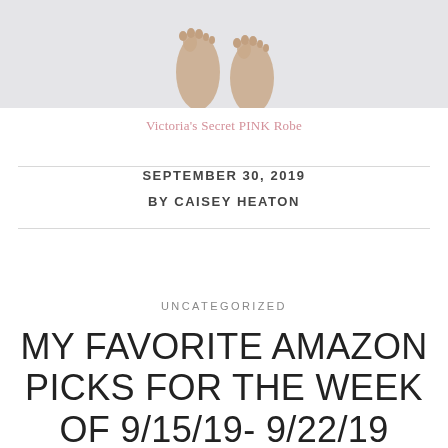[Figure (photo): Cropped photo showing bare feet against a light gray background, viewed from above]
Victoria's Secret PINK Robe
SEPTEMBER 30, 2019
BY CAISEY HEATON
UNCATEGORIZED
MY FAVORITE AMAZON PICKS FOR THE WEEK OF 9/15/19- 9/22/19